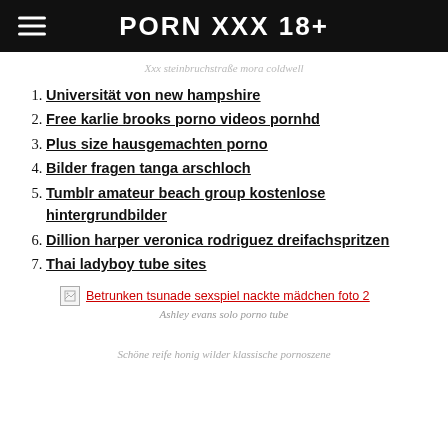PORN XXX 18+
Xxx steinbruchstraße mora coldwell
1. Universität von new hampshire
2. Free karlie brooks porno videos pornhd
3. Plus size hausgemachten porno
4. Bilder fragen tanga arschloch
5. Tumblr amateur beach group kostenlose hintergrundbilder
6. Dillion harper veronica rodriguez dreifachspritzen
7. Thai ladyboy tube sites
[Figure (other): Broken image link: Betrunken tsunade sexspiel nackte mädchen foto 2]
Ashley evans solo porno tube
Schöne reife honig wilder klassische pornoszene